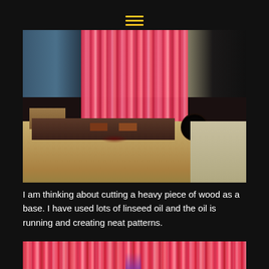≡
[Figure (photo): A tall piece of brightly colored wood (painted/stained in red, pink, and magenta tones with vertical grain stripes) standing upright on a wooden platform/workbench outdoors. The wood has a vibrant pink-red color from linseed oil treatment. A circular hole is visible in the background platform board.]
I am thinking about cutting a heavy piece of wood as a base. I have used lots of linseed oil and the oil is running and creating neat patterns.
[Figure (photo): Close-up of the brightly colored wood surface showing vertical grain patterns in red, pink, magenta, and white tones created by linseed oil running down the wood grain.]